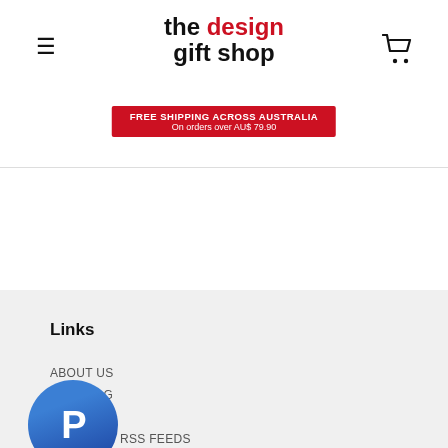the design gift shop — FREE SHIPPING ACROSS AUSTRALIA On orders over AU$ 79.90
Links
ABOUT US
THE BLOG
LINKS
[Figure (logo): PayPal circular button logo with white P on blue gradient background]
RSS FEEDS